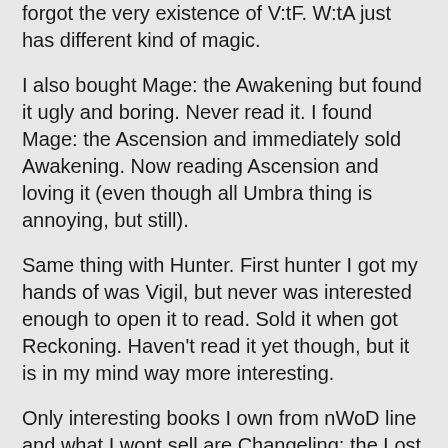forgot the very existence of V:tF. W:tA just has different kind of magic.
I also bought Mage: the Awakening but found it ugly and boring. Never read it. I found Mage: the Ascension and immediately sold Awakening. Now reading Ascension and loving it (even though all Umbra thing is annoying, but still).
Same thing with Hunter. First hunter I got my hands of was Vigil, but never was interested enough to open it to read. Sold it when got Reckoning. Haven't read it yet though, but it is in my mind way more interesting.
Only interesting books I own from nWoD line and what I wont sell are Changeling: the Lost and Slasher. Slasher is great book because I like horror movies and Changeling is otherwise really cool urban horror fantasy. Those I do like.
Still, I think I was stupid bashing around how awesome oWoD is and how much nWoD sucks. I like oWoD, and that's what I've used to play. I did not find same kind of magic in nWoD, but it is not an excuse to bash about it. New